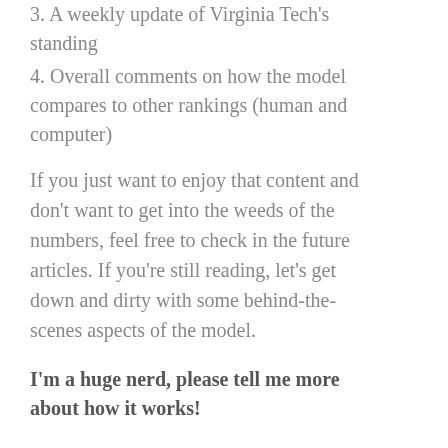3. A weekly update of Virginia Tech's standing
4. Overall comments on how the model compares to other rankings (human and computer)
If you just want to enjoy that content and don't want to get into the weeds of the numbers, feel free to check in the future articles. If you're still reading, let's get down and dirty with some behind-the-scenes aspects of the model.
I'm a huge nerd, please tell me more about how it works!
There are countless models out there you can read about that range from simple to complex. I have kept this model on the simple side for a few reasons: 1) simple models are easier to understand and track what makes a team move; 2) simple models tend to